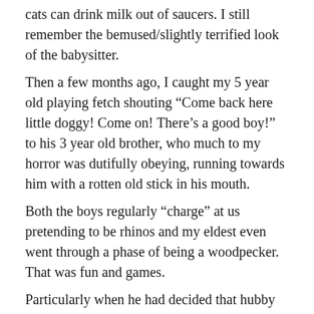cats can drink milk out of saucers. I still remember the bemused/slightly terrified look of the babysitter.
Then a few months ago, I caught my 5 year old playing fetch shouting “Come back here little doggy! Come on! There’s a good boy!” to his 3 year old brother, who much to my horror was dutifully obeying, running towards him with a rotten old stick in his mouth.
Both the boys regularly “charge” at us pretending to be rhinos and my eldest even went through a phase of being a woodpecker. That was fun and games.
Particularly when he had decided that hubby and myself were trees. It was like living with a very enthusiastic and excitable Woody Woodpecker.
But why do children pretend to be animals and how should we, as parents and carers react to it? It could be pretty frustrating if your kid is pretending to be a worm and all you want is for them to put their shoes on. Or